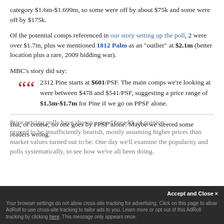category $1.6m-$1.699m, so some were off by about $75k and some were off by $175k.
Of the potential comps referenced in our story setting up the poll, 2 were over $1.7m, plus we mentioned 1812 Palm as an "outlier" at $2.1m (better location plus a rare, 2009 bidding war).
MBC's story did say:
2312 Pine starts at $601/PSF. The main comps we're looking at were between $478 and $541/PSF, suggesting a price range of $1.5m-$1.7m for Pine if we go on PPSF alone.
But, of course, no one goes by PPSF alone. Maybe we steered some readers wrong.
Prior pricing polls have shown a good breadth of opinion... proved to be insufficiently bearish, mostly assuming higher prices than market values turned out to be. One day we'll examine the popularity and polls systematically, to see how we've all been doing.
Accept and Close ×
Your browser settings do not allow cross-site tracking for advertising. Click on this page to allow AdRoll to use cross-site tracking to tailor ads to you. Learn more or opt out of this AdRoll tracking by clicking here. This message only appears once.